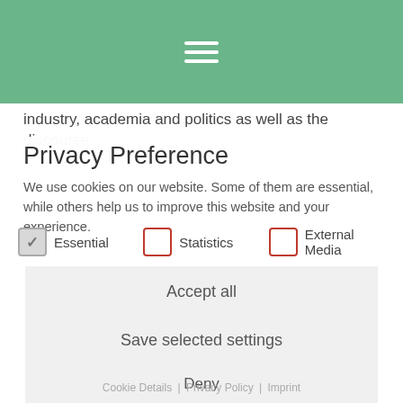[Figure (screenshot): Green header bar with white hamburger/menu icon (three horizontal lines)]
industry, academia and politics as well as the discourse
Privacy Preference
We use cookies on our website. Some of them are essential, while others help us to improve this website and your experience.
Essential   Statistics   External Media
Accept all
Save selected settings
Deny
Cookie Details | Privacy Policy | Imprint